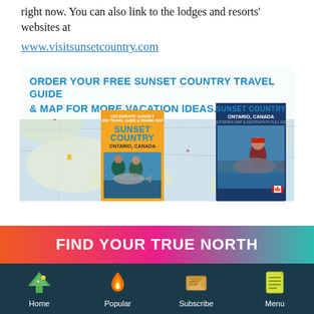right now. You can also link to the lodges and resorts' websites at
www.visitsunsetcountry.com
[Figure (infographic): Travel guide advertisement banner showing a map background with text 'ORDER YOUR FREE SUNSET COUNTRY TRAVEL GUIDE & MAP FOR MORE VACATION IDEAS.' with a '>' arrow, and two Sunset Country Ontario, Canada travel guide book covers with fishing photos.]
FIND YOUR TRUE NORTH
Home | Popular | Subscribe | Menu